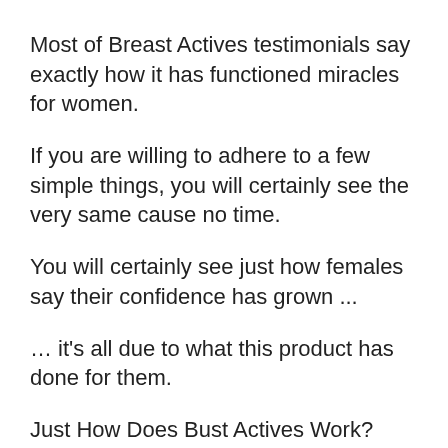Most of Breast Actives testimonials say exactly how it has functioned miracles for women.
If you are willing to adhere to a few simple things, you will certainly see the very same cause no time.
You will certainly see just how females say their confidence has grown ...
… it's all due to what this product has done for them.
Just How Does Bust Actives Work?
It is a totally all-natural item.